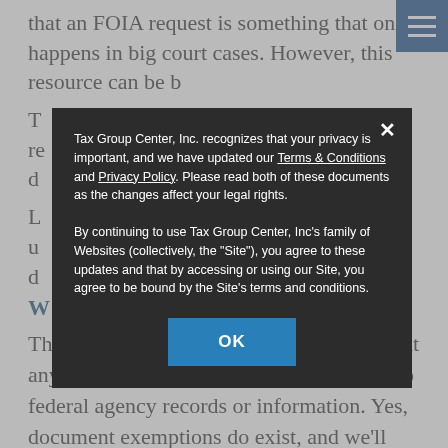that an FOIA request is something that only happens in big court cases. However, this resource can be b...
T... re... d...
L... u... d...
[Figure (screenshot): Privacy policy modal dialog overlay on a webpage. Modal has dark background (#2c2c2c), contains text: 'Tax Group Center, Inc. recognizes that your privacy is important, and we have updated our Terms & Conditions and Privacy Policy. Please read both of these documents as the changes affect your legal rights.' and 'By continuing to use Tax Group Center, Inc's family of Websites (collectively, the "Site"), you agree to these updates and that by accessing or using our Site, you agree to be bound by the Site's terms and conditions.' with an OK button in blue.]
W...
The Freedom of Information Act asserts that any person has the right to request access to federal agency records or information. Yes, document exemptions do exist, and we'll cover the types of documents that you aren't entitled to view in just a